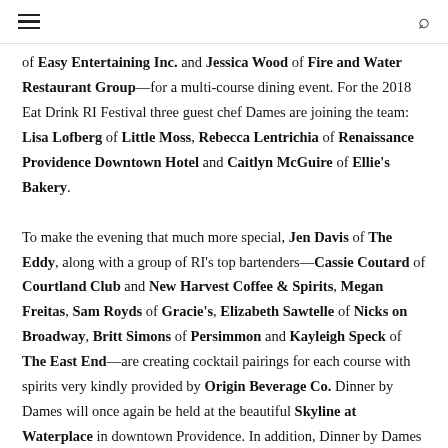≡  🔍
of Easy Entertaining Inc. and Jessica Wood of Fire and Water Restaurant Group—for a multi-course dining event. For the 2018 Eat Drink RI Festival three guest chef Dames are joining the team: Lisa Lofberg of Little Moss, Rebecca Lentrichia of Renaissance Providence Downtown Hotel and Caitlyn McGuire of Ellie's Bakery.

To make the evening that much more special, Jen Davis of The Eddy, along with a group of RI's top bartenders—Cassie Coutard of Courtland Club and New Harvest Coffee & Spirits, Megan Freitas, Sam Royds of Gracie's, Elizabeth Sawtelle of Nicks on Broadway, Britt Simons of Persimmon and Kayleigh Speck of The East End—are creating cocktail pairings for each course with spirits very kindly provided by Origin Beverage Co. Dinner by Dames will once again be held at the beautiful Skyline at Waterplace in downtown Providence. In addition, Dinner by Dames coincides with this year's Paint the Town